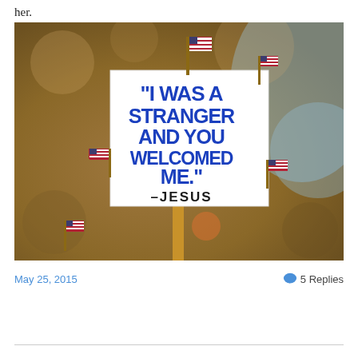her.
[Figure (photo): A protest sign held on a stick, decorated with small American flags, reading: '"I WAS A STRANGER AND YOU WELCOMED ME." –JESUS' in blue hand-painted letters on a white background. The background is blurred foliage and sky.]
May 25, 2015
💬 5 Replies